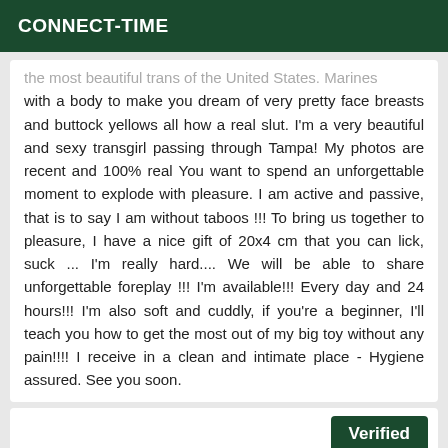CONNECT-TIME
the most beautiful trans of the United States. Marines with a body to make you dream of very pretty face breasts and buttock yellows all how a real slut. I'm a very beautiful and sexy transgirl passing through Tampa! My photos are recent and 100% real You want to spend an unforgettable moment to explode with pleasure. I am active and passive, that is to say I am without taboos !!! To bring us together to pleasure, I have a nice gift of 20x4 cm that you can lick, suck ... I'm really hard.... We will be able to share unforgettable foreplay !!! I'm available!!! Every day and 24 hours!!! I'm also soft and cuddly, if you're a beginner, I'll teach you how to get the most out of my big toy without any pain!!!! I receive in a clean and intimate place - Hygiene assured. See you soon.
Verified